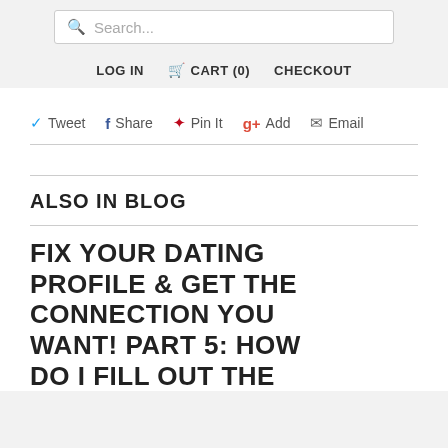Search...
LOG IN  CART (0)  CHECKOUT
Tweet  Share  Pin It  Add  Email
ALSO IN BLOG
FIX YOUR DATING PROFILE & GET THE CONNECTION YOU WANT! PART 5: HOW DO I FILL OUT THE